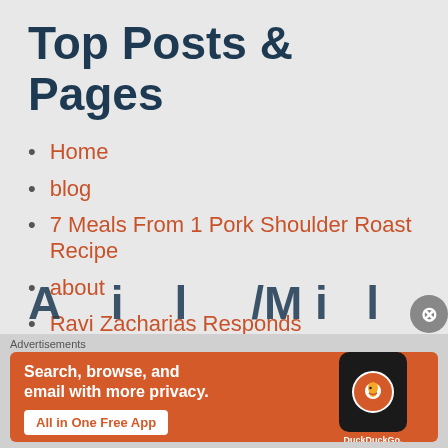Top Posts & Pages
Home
blog
7 Meals From 1 Pork Shoulder Roast Recipe
about
Ravi Zacharias Responds
Back After 2 Years
GIVEAWAY
Advertisements
[Figure (screenshot): DuckDuckGo advertisement banner: 'Search, browse, and email with more privacy. All in One Free App' with DuckDuckGo logo on a phone graphic, orange background]